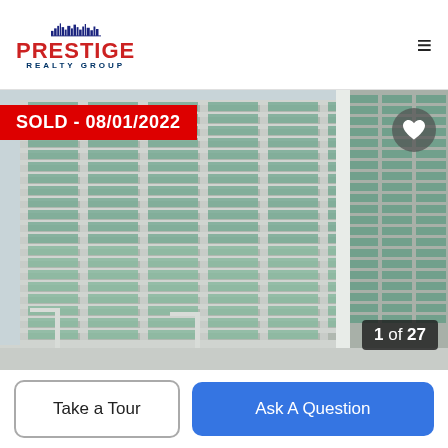PRESTIGE REALTY GROUP
[Figure (photo): Exterior photo of tall modern glass and concrete high-rise condominium buildings, photographed from street level. Two towers visible with green-tinted glass balconies. Street lamp visible at lower left.]
SOLD - 08/01/2022
1 of 27
Take a Tour
Ask A Question